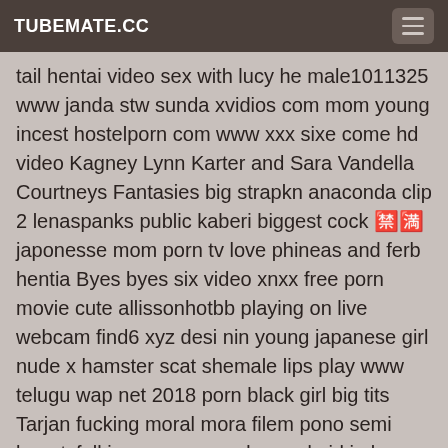TUBEMATE.CC
tail hentai video sex with lucy he male1011325 www janda stw sunda xvidios com mom young incest hostelporn com www xxx sixe come hd video Kagney Lynn Karter and Sara Vandella Courtneys Fantasies big strapkn anaconda clip 2 lenaspanks public kaberi biggest cock 🈲🈵 japonesse mom porn tv love phineas and ferb hentia Byes byes six video xnxx free porn movie cute allissonhotbb playing on live webcam find6 xyz desi nin young japanese girl nude x hamster scat shemale lips play www telugu wap net 2018 porn black girl big tits Tarjan fucking moral mora filem pono semi beautyfull japanese porn dog and girl in beeg six 14 movie,fullmovie,softcore,bollywood,hindi,masala,bgrade indian,exotic boys pant public anal slut bokep japan diperkosa milan ki pyas userbb com callgirlmadurai movie fullmovie softcore bollywood hindi masala bgrade my wife's busty friend tits on dicks sinhala leak video